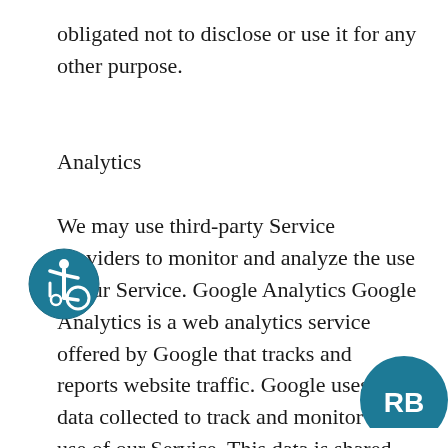obligated not to disclose or use it for any other purpose.
Analytics
We may use third-party Service providers to monitor and analyze the use of our Service. Google Analytics Google Analytics is a web analytics service offered by Google that tracks and reports website traffic. Google uses the data collected to track and monitor the use of our Service. This data is shared with other Google services. Google may use the collected data to contextualize and personalize the ads of its own advertising network. You may opt-out of certain Google Analytics features through your mobile device settings, such as your device advertising
[Figure (logo): Blue circular accessibility icon showing a person in a wheelchair]
[Figure (logo): Blue circular RB badge logo in the bottom right corner]